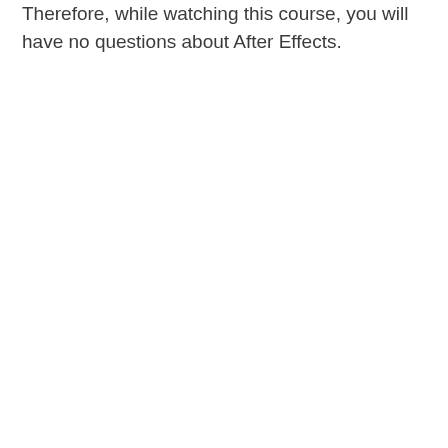Therefore, while watching this course, you will have no questions about After Effects.